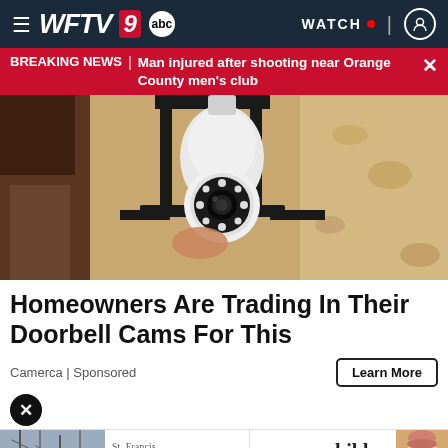WFTV 9 abc | WATCH
BREAKING NEWS | Man injured after shooting near Orange County men's club
[Figure (photo): Close-up photo of a smart security camera bulb screwed into an outdoor wall lamp fixture with black metal frame, beige stucco wall in the background]
Homeowners Are Trading In Their Doorbell Cams For This
Camerca | Sponsored
Learn More
[Figure (photo): St. Francis Reflections advertisement banner — treating your child — Learn More button, with baby photo and winter trees background]